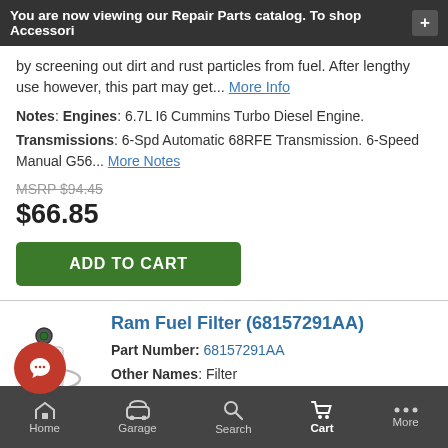You are now viewing our Repair Parts catalog. To shop Accessori
by screening out dirt and rust particles from fuel. After lengthy use however, this part may get... More Info
Notes: Engines: 6.7L I6 Cummins Turbo Diesel Engine.
Transmissions: 6-Spd Automatic 68RFE Transmission. 6-Speed Manual G56... More Notes
MSRP $94.45
$66.85
ADD TO CART
Ram Fuel Filter (68157291AA)
Part Number: 68157291AA
Other Names: Filter
Description: Exhaust manifold studs
[Figure (photo): Ram Fuel Filter part image showing cylindrical filter components]
Home  Garage  Search  Cart  More